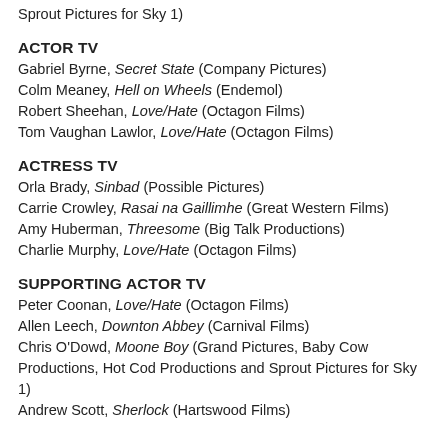Sprout Pictures for Sky 1)
ACTOR TV
Gabriel Byrne, Secret State (Company Pictures)
Colm Meaney, Hell on Wheels (Endemol)
Robert Sheehan, Love/Hate (Octagon Films)
Tom Vaughan Lawlor, Love/Hate (Octagon Films)
ACTRESS TV
Orla Brady, Sinbad (Possible Pictures)
Carrie Crowley, Rasai na Gaillimhe (Great Western Films)
Amy Huberman, Threesome (Big Talk Productions)
Charlie Murphy, Love/Hate (Octagon Films)
SUPPORTING ACTOR TV
Peter Coonan, Love/Hate (Octagon Films)
Allen Leech, Downton Abbey (Carnival Films)
Chris O'Dowd, Moone Boy (Grand Pictures, Baby Cow Productions, Hot Cod Productions and Sprout Pictures for Sky 1)
Andrew Scott, Sherlock (Hartswood Films)